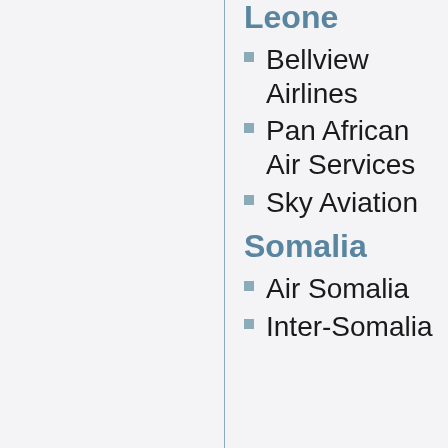Leone
Bellview Airlines
Pan African Air Services
Sky Aviation
Somalia
Air Somalia
Inter-Somalia